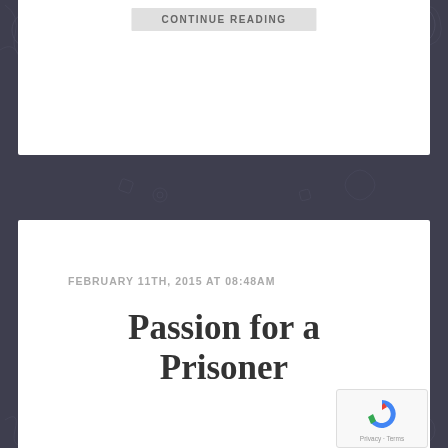[Figure (screenshot): Decorative dark illustrated background with abstract doodle patterns]
CONTINUE READING
FEBRUARY 11TH, 2015 AT 08:48AM
Passion for a Prisoner
[Figure (photo): Black and white vintage photograph of three men standing in an open field, with a large dog on what appears to be the back of a vehicle. Other people visible in the background field.]
[Figure (logo): reCAPTCHA badge with Privacy and Terms links]